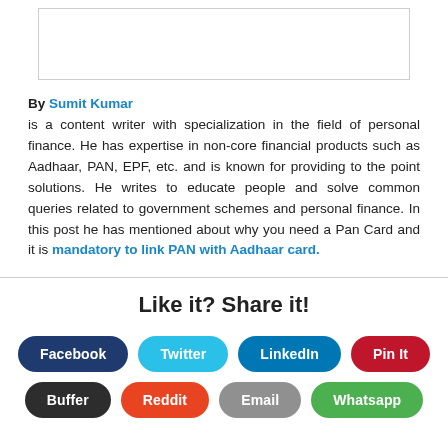[Figure (other): Blank white image placeholder box]
By Sumit Kumar is a content writer with specialization in the field of personal finance. He has expertise in non-core financial products such as Aadhaar, PAN, EPF, etc. and is known for providing to the point solutions. He writes to educate people and solve common queries related to government schemes and personal finance. In this post he has mentioned about why you need a Pan Card and it is mandatory to link PAN with Aadhaar card.
Like it? Share it!
Facebook
Twitter
LinkedIn
Pin It
Buffer
Reddit
Email
Whatsapp